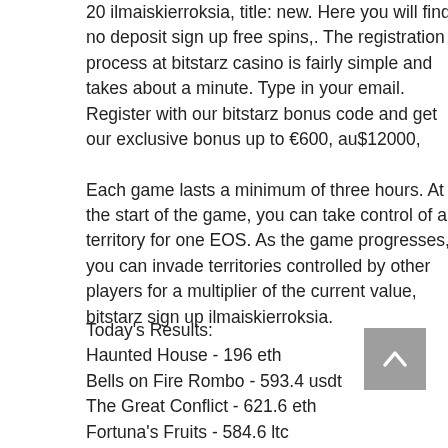20 ilmaiskierroksia, title: new. Here you will find no deposit sign up free spins,. The registration process at bitstarz casino is fairly simple and takes about a minute. Type in your email. Register with our bitstarz bonus code and get our exclusive bonus up to €600, au$12000,
Each game lasts a minimum of three hours. At the start of the game, you can take control of a territory for one EOS. As the game progresses, you can invade territories controlled by other players for a multiplier of the current value, bitstarz sign up ilmaiskierroksia.
Today's Results:
Haunted House - 196 eth
Bells on Fire Rombo - 593.4 usdt
The Great Conflict - 621.6 eth
Fortuna's Fruits - 584.6 ltc
Pink Panther - 734.9 bch
Vegas Nights - 532.7 eth